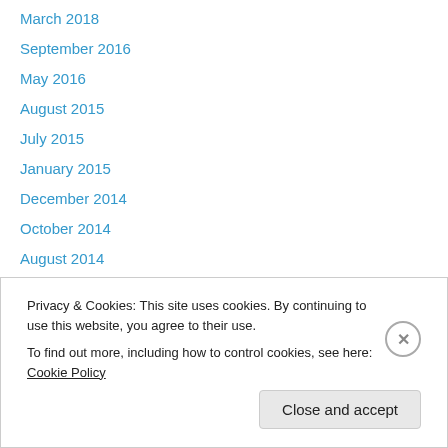March 2018
September 2016
May 2016
August 2015
July 2015
January 2015
December 2014
October 2014
August 2014
April 2014
March 2014
November 2013
October 2013
Privacy & Cookies: This site uses cookies. By continuing to use this website, you agree to their use. To find out more, including how to control cookies, see here: Cookie Policy
Close and accept